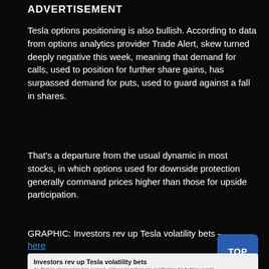ADVERTISEMENT
Tesla options positioning is also bullish. According to data from options analytics provider Trade Alert, skew turned deeply negative this week, meaning that demand for calls, used to position for further share gains, has surpassed demand for puts, used to guard against a fall in shares.
That’s a departure from the usual dynamic in most stocks, in which options used for downside protection generally command prices higher than those for upside participation.
GRAPHIC: Investors rev up Tesla volatility bets – here
[Figure (screenshot): Preview card showing 'Investors rev up Tesla volatility bets' with subtitle 'As Tesla’s share price has surged, options investors are positioning for further upside' and label 'DEMAND FOR UPSIDE BETS SOARS']